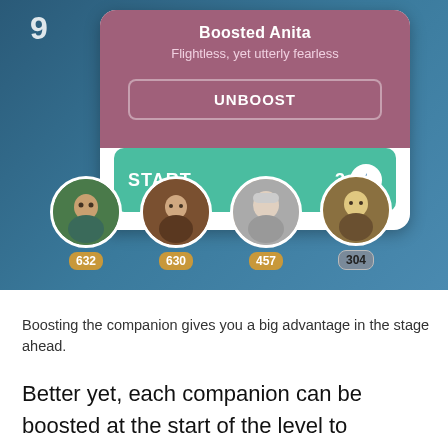[Figure (screenshot): Mobile app screenshot showing a 'Boosted Anita' card with tagline 'Flightless, yet utterly fearless', an UNBOOST button, a START button with lightning bolt icon showing 3 charges, and a row of four circular companion avatars with scores 632, 630, 457, and 304.]
Boosting the companion gives you a big advantage in the stage ahead.
Better yet, each companion can be boosted at the start of the level to immediately use their ability, not to mention cut down on the number of cleared companion dots needed to use it again and again. That's a big benefit that can often be the difference